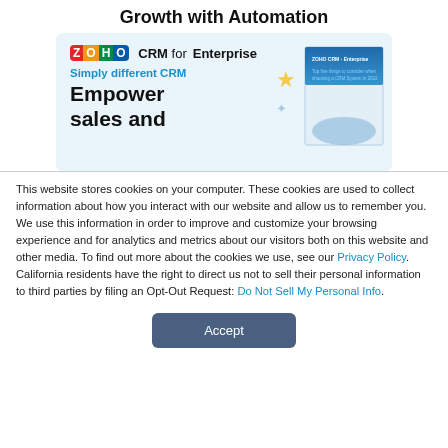Growth with Automation
[Figure (advertisement): Zoho CRM for Enterprise ad banner with blue background, Zoho logo, tagline 'Simply different CRM', headline 'Empower sales and', decorative stars, and a book/brochure image on the right]
This website stores cookies on your computer. These cookies are used to collect information about how you interact with our website and allow us to remember you. We use this information in order to improve and customize your browsing experience and for analytics and metrics about our visitors both on this website and other media. To find out more about the cookies we use, see our Privacy Policy. California residents have the right to direct us not to sell their personal information to third parties by filing an Opt-Out Request: Do Not Sell My Personal Info.
Accept